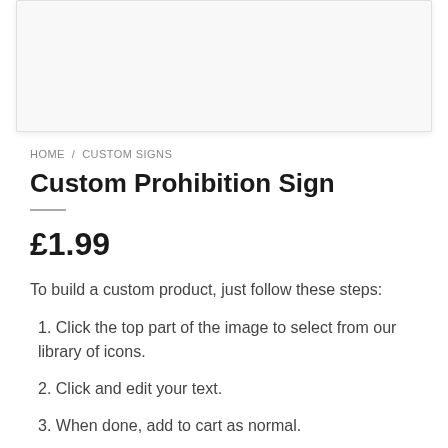[Figure (other): Product image placeholder box for Custom Prohibition Sign]
HOME / CUSTOM SIGNS
Custom Prohibition Sign
£1.99
To build a custom product, just follow these steps:
1. Click the top part of the image to select from our library of icons.
2. Click and edit your text.
3. When done, add to cart as normal.
If you get stuck or change your mind, simply hit the